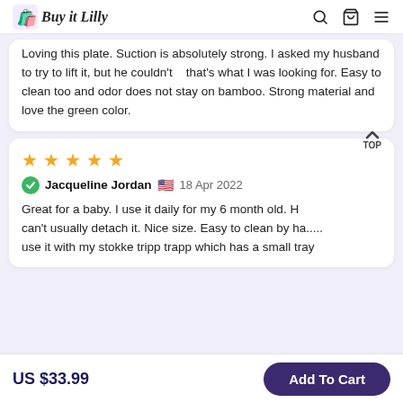Buy it Lilly
Loving this plate. Suction is absolutely strong. I asked my husband to try to lift it, but he couldn't   that's what I was looking for. Easy to clean too and odor does not stay on bamboo. Strong material and love the green color.
[Figure (other): Five gold star rating icons]
Jacqueline Jordan 🇺🇸 18 Apr 2022
Great for a baby. I use it daily for my 6 month old. H can't usually detach it. Nice size. Easy to clean by ha..... use it with my stokke tripp trapp which has a small tray
US $33.99   Add To Cart